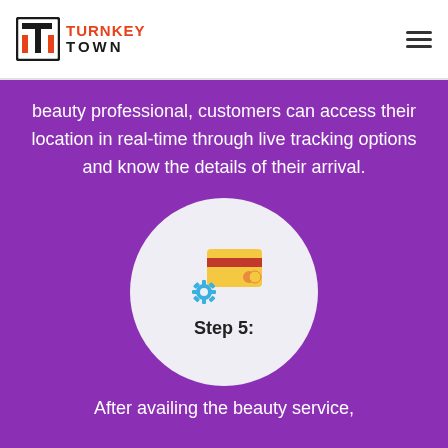[Figure (logo): Turnkey Town logo with orange T icon and text]
beauty professional, customers can access their location in real-time through live tracking options and know the details of their arrival.
[Figure (illustration): Circle icon with credit card and gear/settings symbols, labeled Step 5:]
After availing the beauty service,